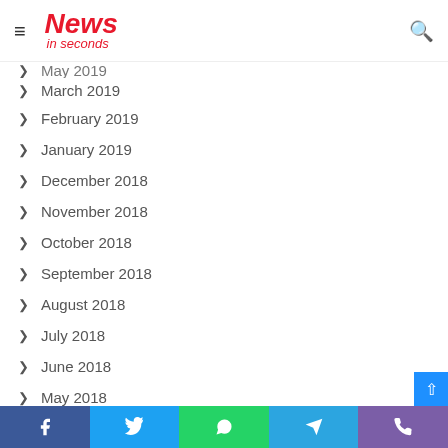News in seconds
March 2019
February 2019
January 2019
December 2018
November 2018
October 2018
September 2018
August 2018
July 2018
June 2018
May 2018
Facebook Twitter WhatsApp Telegram Phone